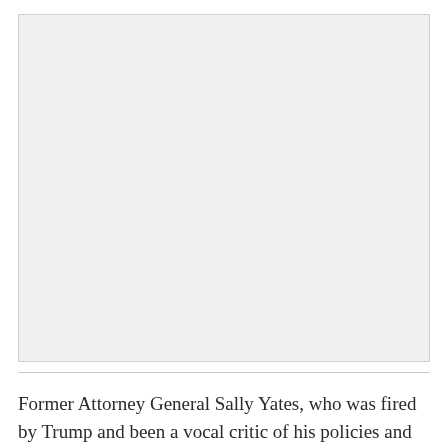[Figure (other): Advertisement placeholder box with 'Ad' label centered at top]
Former Attorney General Sally Yates, who was fired by Trump and been a vocal critic of his policies and rhetoric,